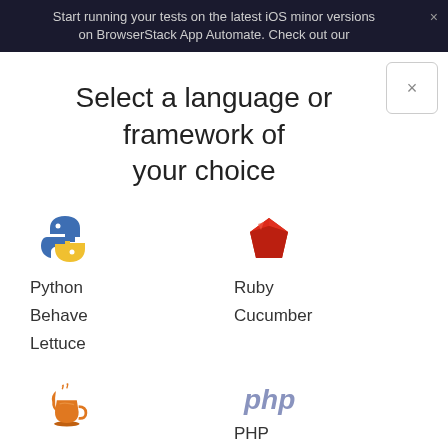Start running your tests on the latest iOS minor versions on BrowserStack App Automate. Check out our
Select a language or framework of your choice
[Figure (illustration): Python logo - blue and yellow snake icon]
Python
Behave
Lettuce
[Figure (illustration): Ruby logo - red gem/diamond icon]
Ruby
Cucumber
[Figure (illustration): Java logo - coffee cup with steam]
Java
JUnit
[Figure (logo): PHP logo - italic bold php text]
PHP
PHPUnit